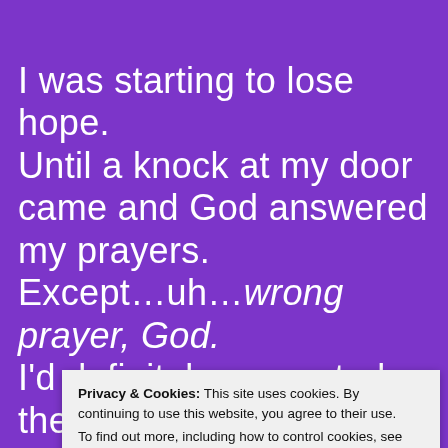I was starting to lose hope. Until a knock at my door came and God answered my prayers. Except…uh…wrong prayer, God. I'd definitely requested the big guy find me a drop-dead gorgeous man on more than one occasion…just not d… D… i… w… charismatic, I wouldn't have been comfortable living with a man, so I
Privacy & Cookies: This site uses cookies. By continuing to use this website, you agree to their use.
To find out more, including how to control cookies, see here:
Cookie Policy
Close and accept